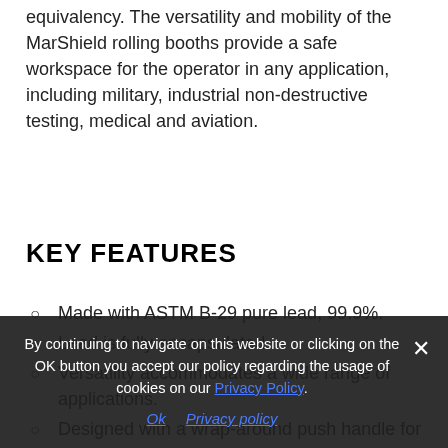equivalency. The versatility and mobility of the MarShield rolling booths provide a safe workspace for the operator in any application, including military, industrial non-destructive testing, medical and aviation.
KEY FEATURES
Made with ASTM B-29 pure lead, 99.9%.
Lead is fully encapsulated.
Versatility accommodates a wide range of applications.
Designed with a wrap-around push handle for easy maneuvering.
Built to last. Frame has a solid steel design and